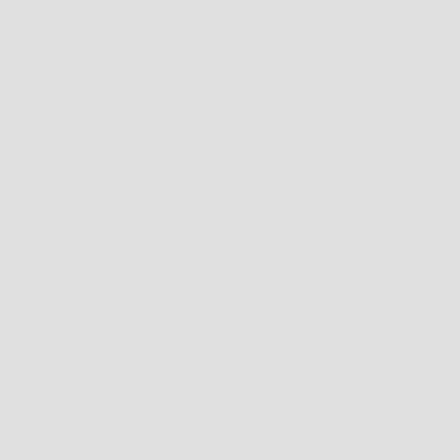Thursday 22nd June Richmond Primary School pupils will treat the Central Library to a performance of waiata in the grounds